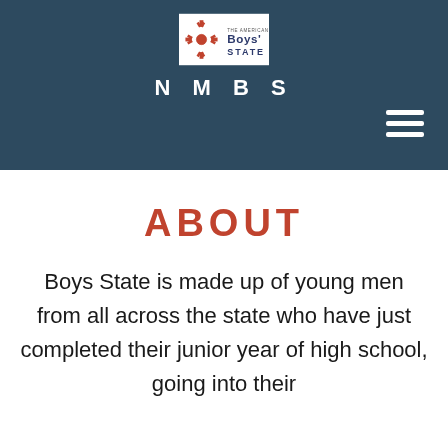[Figure (logo): American Legion Boys State logo with New Mexico zia symbol and text 'Boys State']
NMBS
[Figure (other): Hamburger menu icon with three horizontal white lines]
ABOUT
Boys State is made up of young men from all across the state who have just completed their junior year of high school, going into their